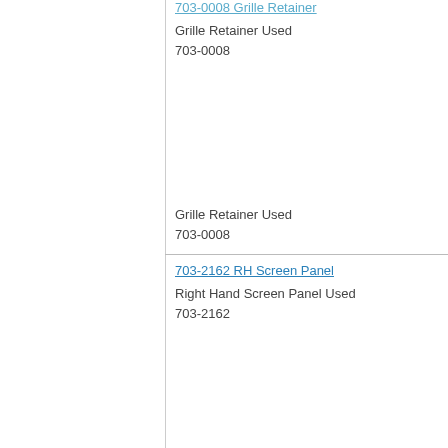703-0008 Grille Retainer (partial, top cut off)
Grille Retainer Used
703-0008
Grille Retainer Used
703-0008
703-2162 RH Screen Panel
Right Hand Screen Panel Used
703-2162
Right Hand Screen Panel Used
703-2162
703-2163 LH Screen Panel
Left Hand Screen Panel Used
703-2163